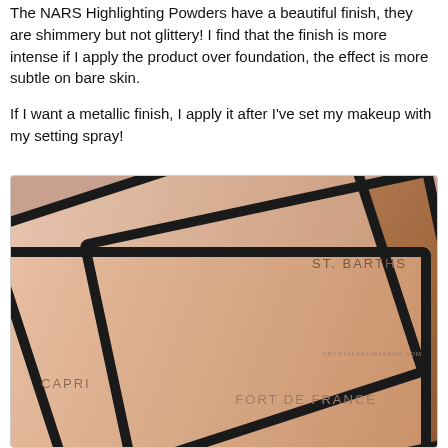The NARS Highlighting Powders have a beautiful finish, they are shimmery but not glittery! I find that the finish is more intense if I apply the product over foundation, the effect is more subtle on bare skin.
If I want a metallic finish, I apply it after I've set my makeup with my setting spray!
[Figure (photo): Close-up photo of three NARS Highlighting Powder compacts with black frames: ST. BARTHS (bronze/brown), CAPRI (light pink), and FORT DE FRANCE (peach). The compacts are layered overlapping each other diagonally.]